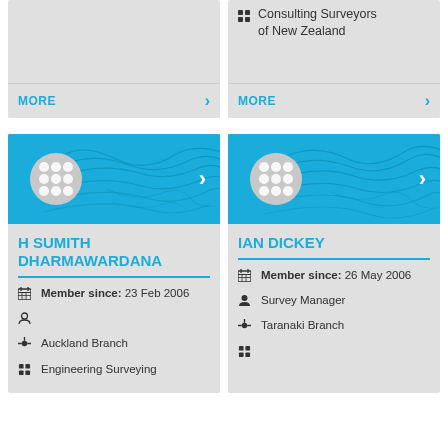[Figure (screenshot): Top-left card with gray background showing organization info, partially visible, with MORE link]
Consulting Surveyors of New Zealand
MORE
MORE
[Figure (infographic): Profile card for H Sumith Dharmawardana with blue banner showing topographic lines and avatar, member info below]
H SUMITH DHARMAWARDANA
Member since: 23 Feb 2006
Auckland Branch
Engineering Surveying
[Figure (infographic): Profile card for Ian Dickey with blue banner showing topographic lines and avatar, member info below]
IAN DICKEY
Member since: 26 May 2006
Survey Manager
Taranaki Branch